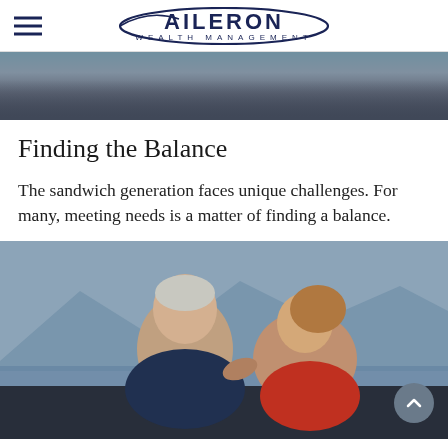Aileron Wealth Management
[Figure (photo): Partial photo of person reading a document or map, dark background]
Finding the Balance
The sandwich generation faces unique challenges. For many, meeting needs is a matter of finding a balance.
[Figure (photo): Elderly man with white beard smiling, woman behind him with arm around his shoulder, mountains and water in background]